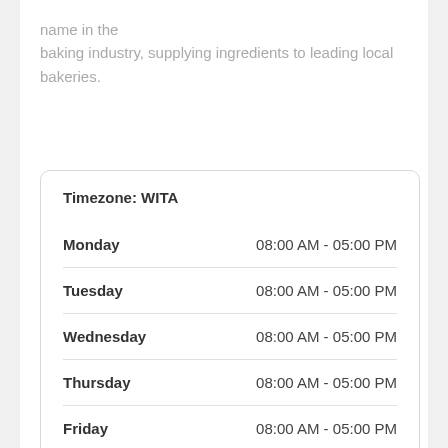name in the baking industry, supplying ingredients to leading local bakeries.
| Day | Hours |
| --- | --- |
| Monday | 08:00 AM - 05:00 PM |
| Tuesday | 08:00 AM - 05:00 PM |
| Wednesday | 08:00 AM - 05:00 PM |
| Thursday | 08:00 AM - 05:00 PM |
| Friday | 08:00 AM - 05:00 PM |
| Saturday | Closed |